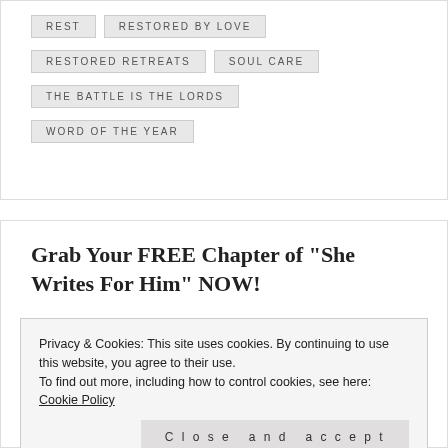REST
RESTORED BY LOVE
RESTORED RETREATS
SOUL CARE
THE BATTLE IS THE LORDS
WORD OF THE YEAR
Grab Your FREE Chapter of "She Writes For Him" NOW!
Privacy & Cookies: This site uses cookies. By continuing to use this website, you agree to their use.
To find out more, including how to control cookies, see here: Cookie Policy
Close and accept